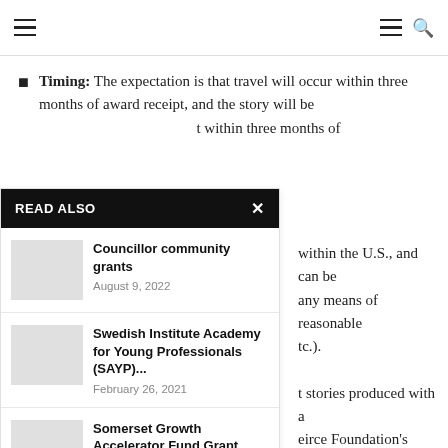Navigation header with hamburger menus and search icon
Timing: The expectation is that travel will occur within three months of award receipt, and the story will be [published] within three months of [travel].
[Travel is] within the U.S., and can be [conducted by] any means of reasonable [transportation, e]tc.).
[All] stories produced with a [Knight/Pe]irce Foundation's support [—] [gran]t recipients are expected to [promote via] social media accounts and [support the] Foundation efforts to [measure the im]pact of Journalism Travel
READ ALSO
Councillor community grants
August 9, 2022
Swedish Institute Academy for Young Professionals (SAYP)...
February 26, 2021
Somerset Growth Accelerator Fund Grant Scheme